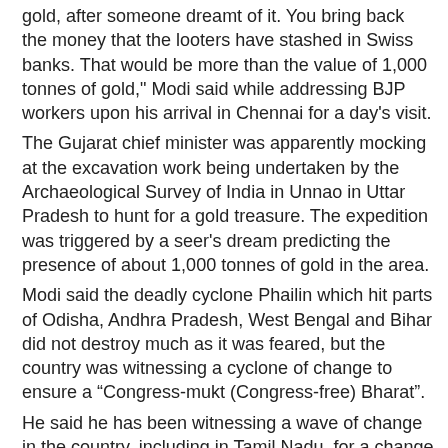gold, after someone dreamt of it. You bring back the money that the looters have stashed in Swiss banks. That would be more than the value of 1,000 tonnes of gold," Modi said while addressing BJP workers upon his arrival in Chennai for a day's visit.
The Gujarat chief minister was apparently mocking at the excavation work being undertaken by the Archaeological Survey of India in Unnao in Uttar Pradesh to hunt for a gold treasure. The expedition was triggered by a seer's dream predicting the presence of about 1,000 tonnes of gold in the area.
Modi said the deadly cyclone Phailin which hit parts of Odisha, Andhra Pradesh, West Bengal and Bihar did not destroy much as it was feared, but the country was witnessing a cyclone of change to ensure a “Congress-mukt (Congress-free) Bharat”.
He said he has been witnessing a wave of change in the country, including in Tamil Nadu, for a change of government at the Centre.
Later, speaking at a function in the city, the Gujarat CM also targeted the UPA government over its foreign policy as well as military modernization, saying that because of its